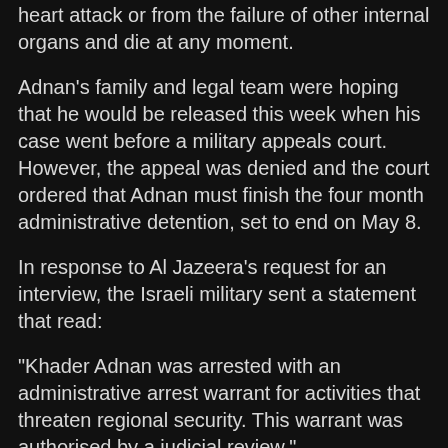heart attack or from the failure of other internal organs and die at any moment.
Adnan's family and legal team were hoping that he would be released this week when his case went before a military appeals court. However, the appeal was denied and the court ordered that Adnan must finish the four month administrative detention, set to end on May 8.
In response to Al Jazeera's request for an interview, the Israeli military sent a statement that read:
"Khader Adnan was arrested with an administrative arrest warrant for activities that threaten regional security. This warrant was authorised by a judicial review."
Francis and Adnan's legal team argue that, after losing some 40kg from more than 60 days without food, Adnan is wheelchair-bound and too weak to pose a risk to anyone.
Amnesty International and Human Rights Watch have both called on the Israeli authorities either to release Adnan or immediately charge him with criminal offences and have him tried.